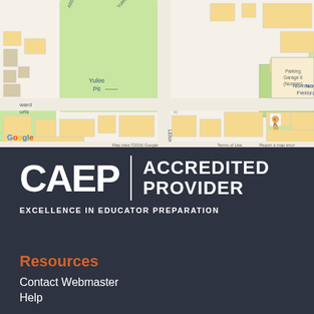[Figure (map): Google Maps aerial/street view showing a campus area with Norman Field, Yulee Pit, Parking Garage 8 (Norman), and Howard Courts labeled. Map data ©2016 Google.]
[Figure (logo): CAEP Accredited Provider logo. Large white text reading CAEP with a vertical divider, then ACCREDITED PROVIDER in bold white. Below: EXCELLENCE IN EDUCATOR PREPARATION in smaller white letters.]
Resources
Contact Webmaster
Help